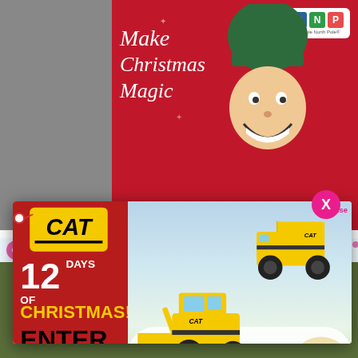[Figure (illustration): Background: Make Christmas Magic ad by Portable North Pole (PNP) featuring an elf character on a red background with PNP logo]
[Figure (illustration): Popup advertisement for CAT (Caterpillar) 12 Days of Christmas contest on Amazon, featuring yellow CAT toy trucks and loader on a snowy background. Text: CAT, 12 DAYS OF CHRISTMAS! ENTER NOW! #CATERPILLARTOYS, amazon logo. Close button X in pink circle.]
[Figure (illustration): Decorative colorful gifts and icons strip across the page]
Home
About Us
Advertising